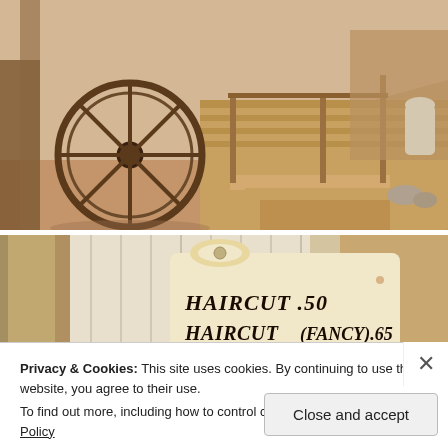[Figure (photo): Old western scene with a large wooden wagon wheel on sandy ground, wooden boardwalk steps and railing, bright sunny day]
[Figure (photo): Close-up of an old western barber shop sign reading: HAIRCUT .50 / HAIRCUT (FANCY) .65 / SHAVE & HAIRCUT .75, mounted on weathered white wooden wall]
Privacy & Cookies: This site uses cookies. By continuing to use this website, you agree to their use.
To find out more, including how to control cookies, see here: Cookie Policy
Close and accept